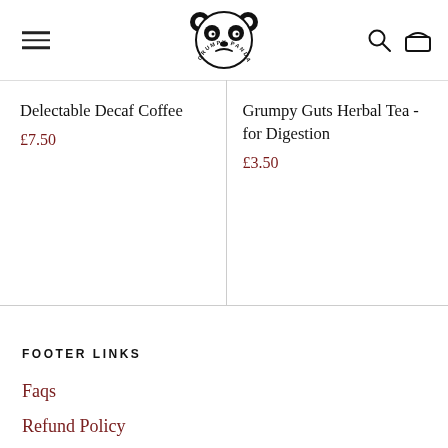[Figure (logo): Grumpy Panda logo: a panda face with crossed arms and circular text 'GRUMPY PANDA']
Delectable Decaf Coffee
£7.50
Grumpy Guts Herbal Tea - for Digestion
£3.50
FOOTER LINKS
Faqs
Refund Policy
Privacy policy